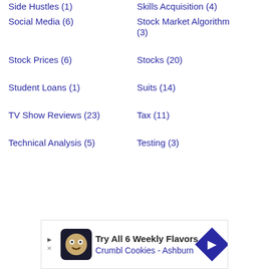Side Hustles (1)
Skills Acquisition (4)
Social Media (6)
Stock Market Algorithm (3)
Stock Prices (6)
Stocks (20)
Student Loans (1)
Suits (14)
TV Show Reviews (23)
Tax (11)
Technical Analysis (5)
Testing (3)
[Figure (other): Advertisement banner for Crumbl Cookies - Ashburn: Try All 6 Weekly Flavors]